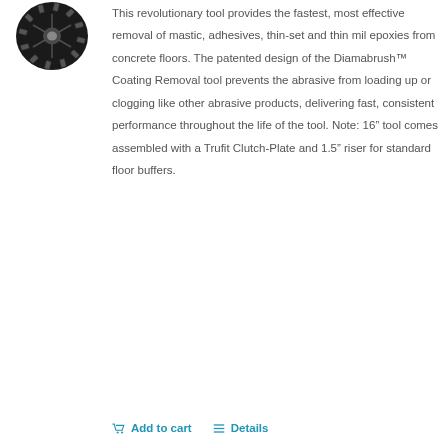[Figure (photo): Black circular Diamabrush coating removal tool viewed from above, showing abrasive segments around the perimeter]
This revolutionary tool provides the fastest, most effective removal of mastic, adhesives, thin-set and thin mil epoxies from concrete floors. The patented design of the Diamabrush™ Coating Removal tool prevents the abrasive from loading up or clogging like other abrasive products, delivering fast, consistent performance throughout the life of the tool. Note: 16" tool comes assembled with a Trufit Clutch-Plate and 1.5" riser for standard floor buffers.
Add to cart    Details